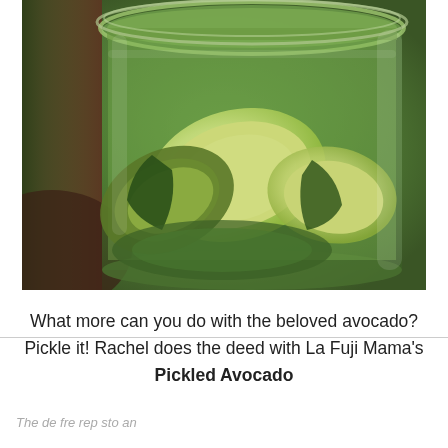[Figure (photo): Close-up photograph of avocado slices inside a glass mason jar, viewed from above-side angle. The avocado pieces show pale yellow-green flesh against the green skin, with the glass jar rim visible at the top.]
What more can you do with the beloved avocado? Pickle it! Rachel does the deed with La Fuji Mama's Pickled Avocado
The de fre rep sto an